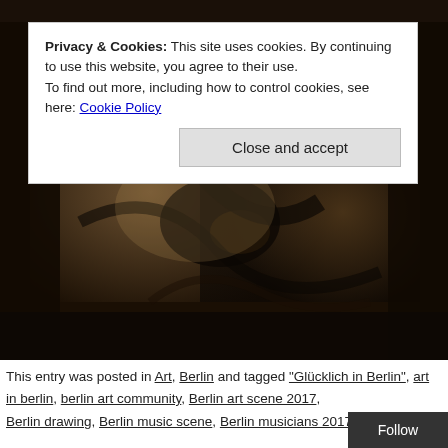[Figure (photo): Dark artwork photograph showing an abstract or figurative painting with muted brown and dark tones, partially visible at top of page and main section below cookie notice.]
Privacy & Cookies: This site uses cookies. By continuing to use this website, you agree to their use.
To find out more, including how to control cookies, see here: Cookie Policy
Close and accept
This entry was posted in Art, Berlin and tagged "Glücklich in Berlin", art in berlin, berlin art community, Berlin art scene 2017, Berlin drawing, Berlin music scene, Berlin musicians 2017